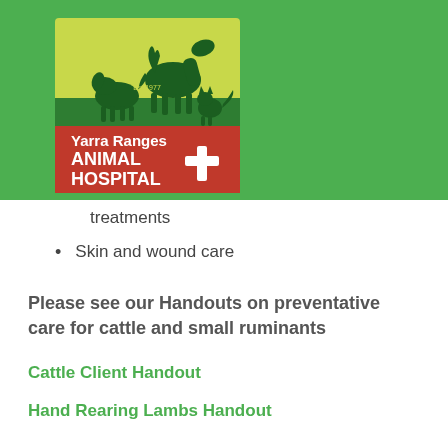[Figure (logo): Yarra Ranges Animal Hospital logo with silhouettes of horse, dog, and cat on green/yellow background, with red banner showing hospital name and white cross]
treatments
Skin and wound care
Please see our Handouts on preventative care for cattle and small ruminants
Cattle Client Handout
Hand Rearing Lambs Handout